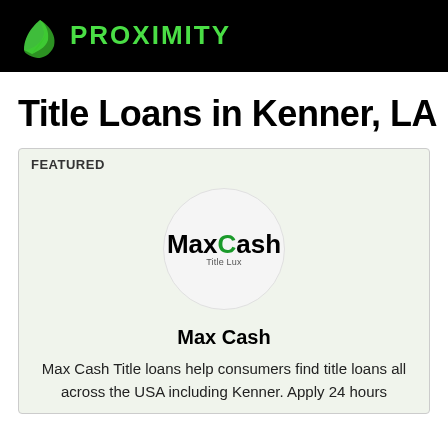[Figure (logo): Proximity logo with green leaf icon and green text PROXIMITY on black background]
Title Loans in Kenner, LA
FEATURED
[Figure (logo): Max Cash logo inside a light gray circle]
Max Cash
Max Cash Title loans help consumers find title loans all across the USA including Kenner. Apply 24 hours